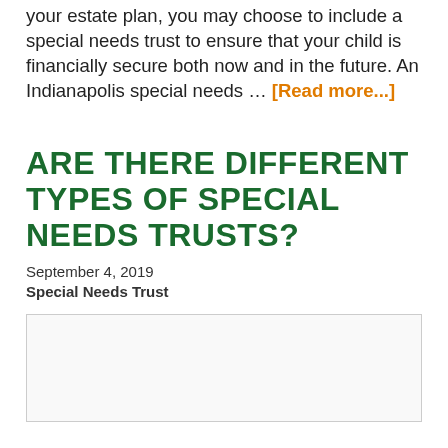your estate plan, you may choose to include a special needs trust to ensure that your child is financially secure both now and in the future. An Indianapolis special needs … [Read more...]
ARE THERE DIFFERENT TYPES OF SPECIAL NEEDS TRUSTS?
September 4, 2019
Special Needs Trust
[Figure (photo): Placeholder image area with light gray background and border, no visible content]